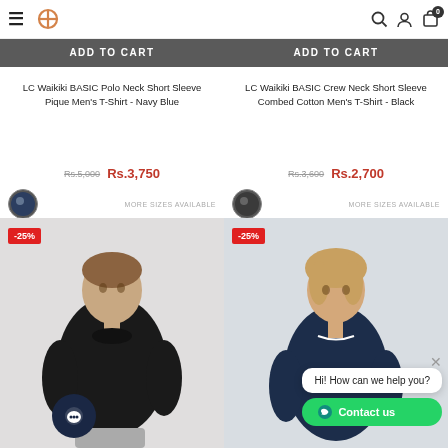LC Waikiki e-commerce product listing page header with hamburger menu, logo, search, account, and cart icons
[Figure (photo): ADD TO CART button overlay on product image - left column]
[Figure (photo): ADD TO CART button overlay on product image - right column]
LC Waikiki BASIC Polo Neck Short Sleeve Pique Men's T-Shirt - Navy Blue
LC Waikiki BASIC Crew Neck Short Sleeve Combed Cotton Men's T-Shirt - Black
Rs.5,000  Rs.3,750
Rs.3,600  Rs.2,700
MORE SIZES AVAILABLE
MORE SIZES AVAILABLE
[Figure (photo): Male model wearing black crew neck t-shirt, -25% discount badge, lower left product card]
[Figure (photo): Male model wearing navy polo shirt, -25% discount badge, lower right product card]
Hi! How can we help you?
Contact us